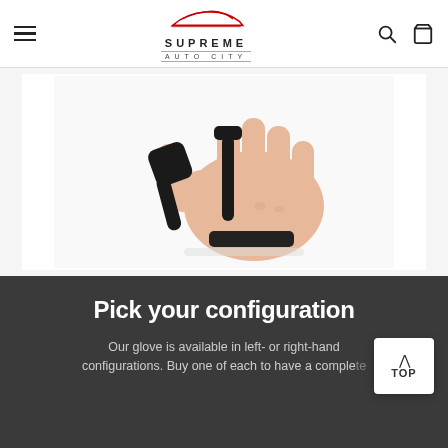Supreme Auto City
[Figure (photo): A hand wearing a black finger splint/glove support brace on the thumb and index finger area, shown against a white background.]
Pick your configuration
Our glove is available in left- or right-hand configurations. Buy one of each to have a complete